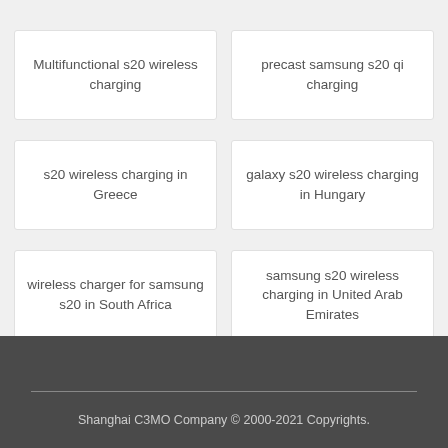Multifunctional s20 wireless charging
precast samsung s20 qi charging
s20 wireless charging in Greece
galaxy s20 wireless charging in Hungary
wireless charger for samsung s20 in South Africa
samsung s20 wireless charging in United Arab Emirates
Shanghai C3MO Company © 2000-2021 Copyrights.